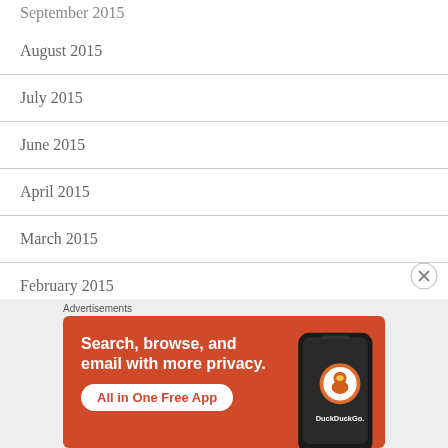September 2015
August 2015
July 2015
June 2015
April 2015
March 2015
February 2015
January 2015
[Figure (screenshot): DuckDuckGo advertisement: orange background with text 'Search, browse, and email with more privacy. All in One Free App' and a phone image with DuckDuckGo logo. Advertisements label above.]